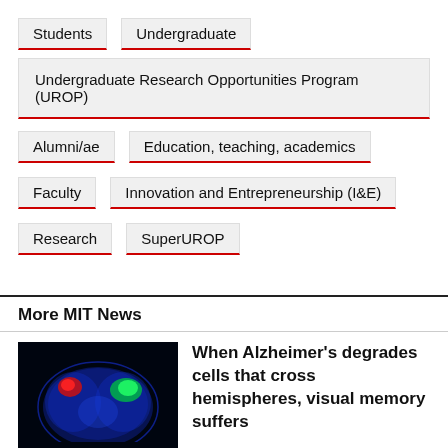Students
Undergraduate
Undergraduate Research Opportunities Program (UROP)
Alumni/ae
Education, teaching, academics
Faculty
Innovation and Entrepreneurship (I&E)
Research
SuperUROP
More MIT News
[Figure (photo): Fluorescence microscopy image of a brain cross-section showing colored regions in blue, red, and green on a dark background]
When Alzheimer's degrades cells that cross hemispheres, visual memory suffers